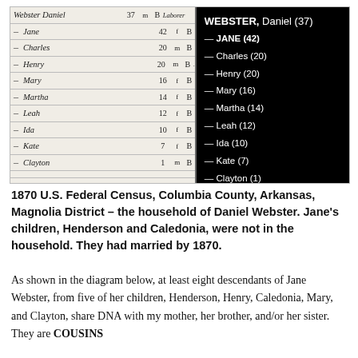[Figure (other): 1870 U.S. Federal Census handwritten record showing the Webster household (Daniel Webster age 37, Jane 42, Charles 20, Henry 20, Mary 16, Martha 14, Leah 12, Ida 10, Kate 7, Clayton 1), with a black panel on the right transcribing the names and ages.]
1870 U.S. Federal Census, Columbia County, Arkansas, Magnolia District – the household of Daniel Webster. Jane's children, Henderson and Caledonia, were not in the household. They had married by 1870.
As shown in the diagram below, at least eight descendants of Jane Webster, from five of her children, Henderson, Henry, Caledonia, Mary, and Clayton, share DNA with my mother, her brother, and/or her sister. They are COUSINS